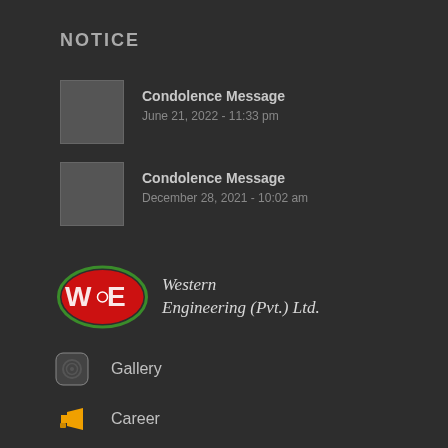NOTICE
Condolence Message
June 21, 2022 - 11:33 pm
Condolence Message
December 28, 2021 - 10:02 am
[Figure (logo): Western Engineering (Pvt.) Ltd. logo with red WE monogram inside green oval border, accompanied by italic serif company name text]
Gallery
Career
Notice